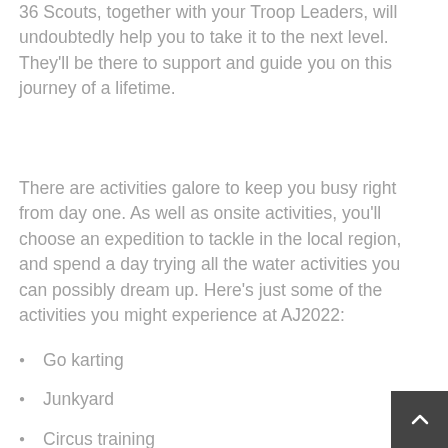36 Scouts, together with your Troop Leaders, will undoubtedly help you to take it to the next level. They'll be there to support and guide you on this journey of a lifetime.
There are activities galore to keep you busy right from day one. As well as onsite activities, you'll choose an expedition to tackle in the local region, and spend a day trying all the water activities you can possibly dream up. Here's just some of the activities you might experience at AJ2022:
Go karting
Junkyard
Circus training